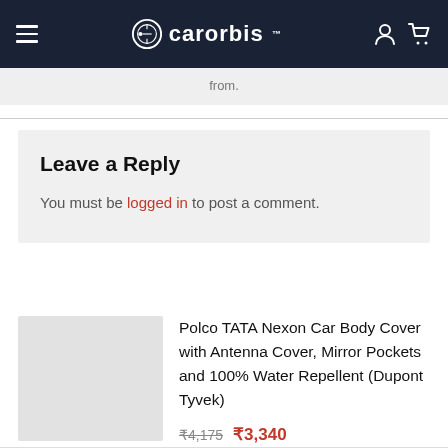carorbis
from.
Leave a Reply
You must be logged in to post a comment.
Polco TATA Nexon Car Body Cover with Antenna Cover, Mirror Pockets and 100% Water Repellent (Dupont Tyvek)
₹4,175  ₹3,340